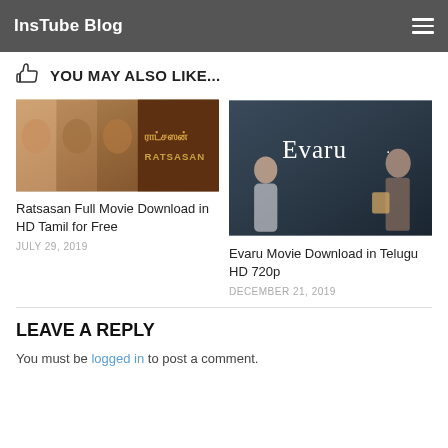InsTube Blog
YOU MAY ALSO LIKE...
[Figure (photo): Ratsasan Tamil movie poster collage showing actors and title text in Tamil script and English]
Ratsasan Full Movie Download in HD Tamil for Free
JULY 29, 2019
[Figure (photo): Evaru Telugu movie promotional image showing two actors sitting with Evaru logo text]
Evaru Movie Download in Telugu HD 720p
DECEMBER 21, 2019
LEAVE A REPLY
You must be logged in to post a comment.